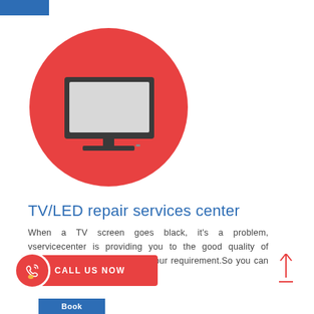[Figure (illustration): Red circle with a flat-style TV/LED monitor icon (dark frame, light grey screen, stand) in the center]
TV/LED repair services center
When a TV screen goes black, it's a problem, vservicecenter is providing you to the good quality of service in patna according to your requirement.So you can also fill our complaint form.
[Figure (infographic): Red CALL US NOW button with phone icon on the left]
Book